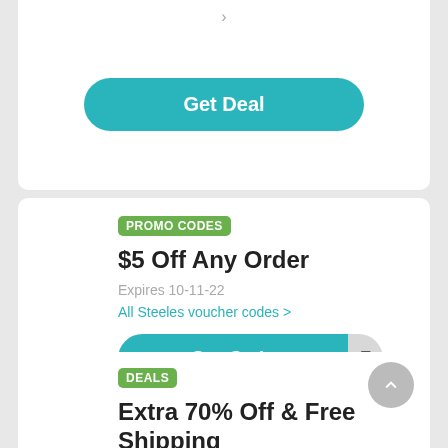[Figure (screenshot): Get Deal button - teal rounded rectangle button]
PROMO CODES
$5 Off Any Order
Expires 10-11-22
All Steeles voucher codes >
$5
[Figure (screenshot): See Code button - teal rounded left button with grey right reveal showing F]
DEALS
Extra 70% Off & Free Shipping
Expires 16-11-22
All ShopAmerock voucher codes >
70%